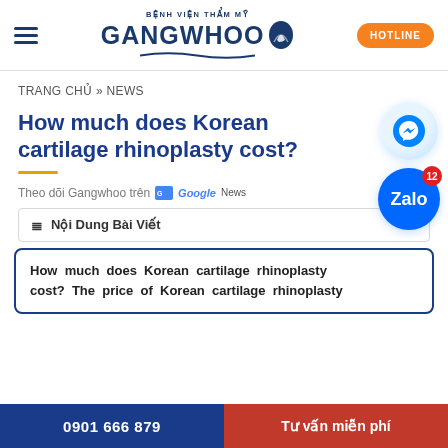BỆNH VIỆN THẨM MỸ GANGWHOO | HOTLINE
TRANG CHỦ » NEWS
How much does Korean cartilage rhinoplasty cost?
Theo dõi Gangwhoo trên Google News
≡ Nội Dung Bài Viết
How much does Korean cartilage rhinoplasty cost? The price of Korean cartilage rhinoplasty
0901 666 879 | Tư vấn miễn phí